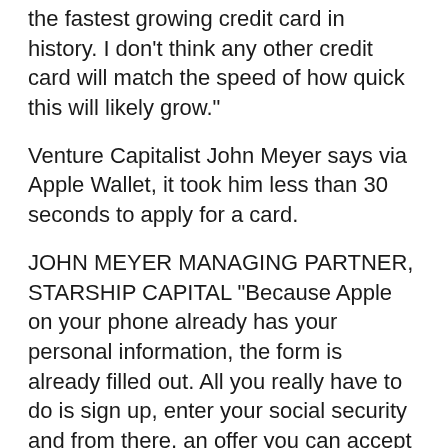the fastest growing credit card in history. I don't think any other credit card will match the speed of how quick this will likely grow."
Venture Capitalist John Meyer says via Apple Wallet, it took him less than 30 seconds to apply for a card.
JOHN MEYER MANAGING PARTNER, STARSHIP CAPITAL "Because Apple on your phone already has your personal information, the form is already filled out. All you really have to do is sign up, enter your social security and from there, an offer you can accept and then you get a card in the mail."
MARK NIU MOUNTAIN VIEW, CALIFORNIA